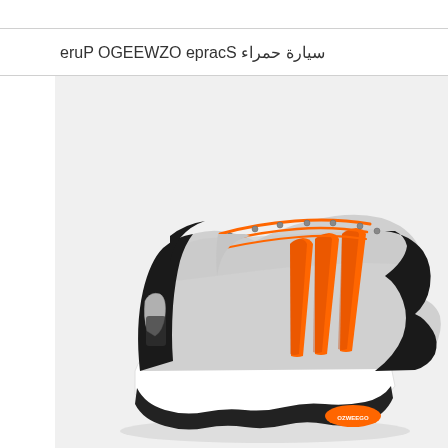سيارة حمراء Scarpe OZWEEGO Pure
[Figure (photo): Adidas OZWEEGO Pure sneaker shoe in light grey with orange three stripes and orange laces, black heel and toe cap, white chunky sole with orange oval logo on the bottom, photographed from the side on a light grey background.]